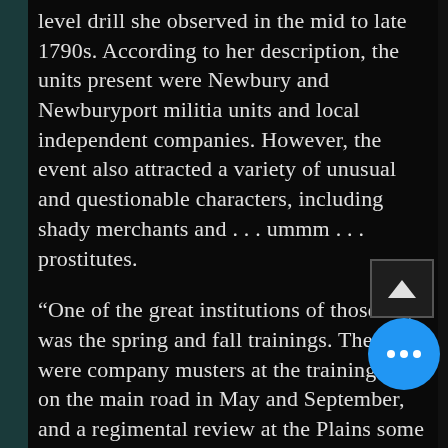level drill she observed in the mid to late 1790s. According to her description, the units present were Newbury and Newburyport militia units and local independent companies. However, the event also attracted a variety of unusual and questionable characters, including shady merchants and . . . ummm . . . prostitutes.
“One of the great institutions of those days was the spring and fall trainings. There were company musters at the training field on the main road in May and September, and a regimental review at the Plains some time in autumn. The officers of these militia companies alone wore uniforms; the privates mostly turned out in their Sunday suits. The musket in those days